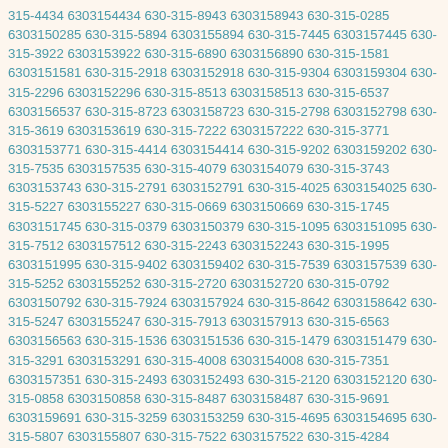315-4434 6303154434 630-315-8943 6303158943 630-315-0285 6303150285 630-315-5894 6303155894 630-315-7445 6303157445 630-315-3922 6303153922 630-315-6890 6303156890 630-315-1581 6303151581 630-315-2918 6303152918 630-315-9304 6303159304 630-315-2296 6303152296 630-315-8513 6303158513 630-315-6537 6303156537 630-315-8723 6303158723 630-315-2798 6303152798 630-315-3619 6303153619 630-315-7222 6303157222 630-315-3771 6303153771 630-315-4414 6303154414 630-315-9202 6303159202 630-315-7535 6303157535 630-315-4079 6303154079 630-315-3743 6303153743 630-315-2791 6303152791 630-315-4025 6303154025 630-315-5227 6303155227 630-315-0669 6303150669 630-315-1745 6303151745 630-315-0379 6303150379 630-315-1095 6303151095 630-315-7512 6303157512 630-315-2243 6303152243 630-315-1995 6303151995 630-315-9402 6303159402 630-315-7539 6303157539 630-315-5252 6303155252 630-315-2720 6303152720 630-315-0792 6303150792 630-315-7924 6303157924 630-315-8642 6303158642 630-315-5247 6303155247 630-315-7913 6303157913 630-315-6563 6303156563 630-315-1536 6303151536 630-315-1479 6303151479 630-315-3291 6303153291 630-315-4008 6303154008 630-315-7351 6303157351 630-315-2493 6303152493 630-315-2120 6303152120 630-315-0858 6303150858 630-315-8487 6303158487 630-315-9691 6303159691 630-315-3259 6303153259 630-315-4695 6303154695 630-315-5807 6303155807 630-315-7522 6303157522 630-315-4284 6303154284 630-315-6866 6303156866 630-315-9036 6303159036 630-315-3153 6303153153 630-315-3923 6303153923 630-315-8950 6303158950 630-315-8049 6303158049 630-315-3853 6303153853 630-315-0153 6303150153 630-315-0033 6303150033 630-315-3038